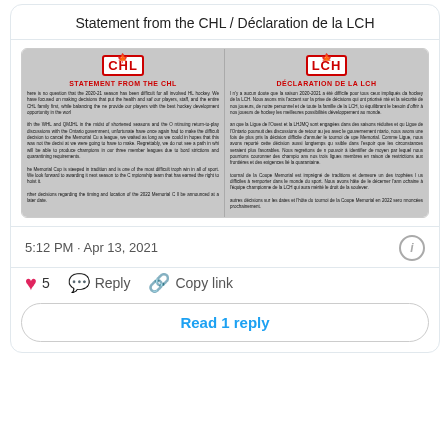Statement from the CHL / Déclaration de la LCH
[Figure (screenshot): A two-column document image showing the CHL statement on the left (English) and LCH statement on the right (French), each with their respective logos and bold red headings, followed by small body text on a grey background.]
5:12 PM · Apr 13, 2021
5  Reply  Copy link
Read 1 reply